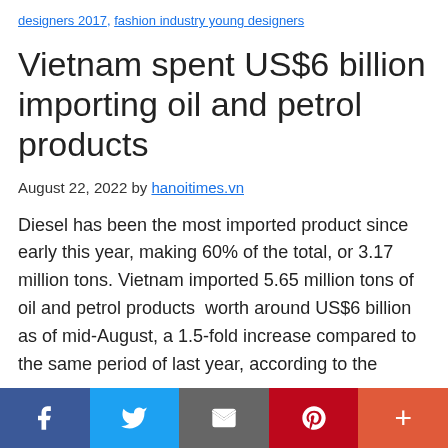designers 2017, fashion industry young designers
Vietnam spent US$6 billion importing oil and petrol products
August 22, 2022 by hanoitimes.vn
Diesel has been the most imported product since early this year, making 60% of the total, or 3.17 million tons. Vietnam imported 5.65 million tons of oil and petrol products  worth around US$6 billion as of mid-August, a 1.5-fold increase compared to the same period of last year, according to the